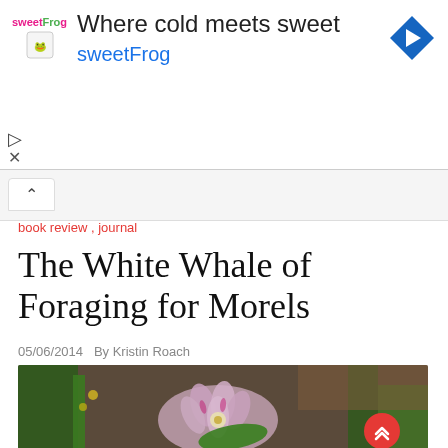[Figure (other): sweetFrog advertisement banner with logo, text 'Where cold meets sweet sweetFrog', and a blue diamond-shaped arrow icon]
book review , journal
The White Whale of Foraging for Morels
05/06/2014   By Kristin Roach
[Figure (photo): Close-up photograph of small pink and white wildflowers with green stems and leaves in a natural outdoor setting]